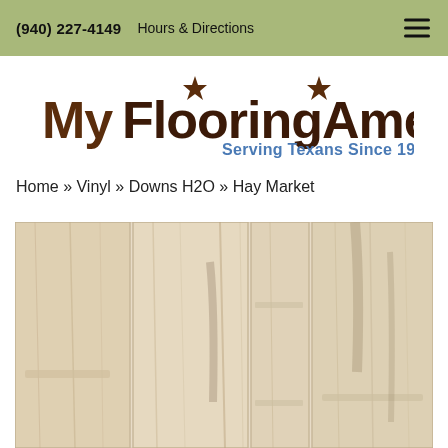(940) 227-4149   Hours & Directions
[Figure (logo): My FlooringAmerica. Serving Texans Since 1972 logo]
Home » Vinyl » Downs H2O » Hay Market
[Figure (photo): Hay Market vinyl flooring product photo showing light beige/cream wood-grain pattern planks]